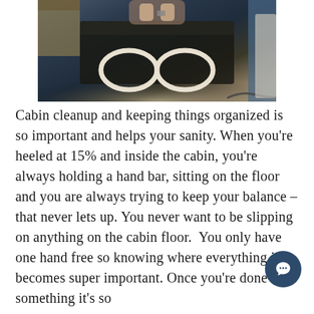[Figure (photo): Photo taken from above showing a person inside a boat cabin, with oval/circular white shapes visible, dark interior with reflective surfaces]
Cabin cleanup and keeping things organized is so important and helps your sanity. When you're heeled at 15% and inside the cabin, you're always holding a hand bar, sitting on the floor and you are always trying to keep your balance – that never lets up. You never want to be slipping on anything on the cabin floor.  You only have one hand free so knowing where everything is becomes super important. Once you're done with something it's so